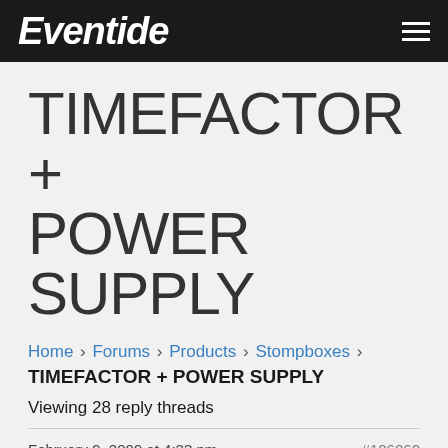Eventide
TIMEFACTOR + POWER SUPPLY
Home › Forums › Products › Stompboxes › TIMEFACTOR + POWER SUPPLY
Viewing 28 reply threads
February 9, 2009 at 4:23 pm  #106060
hchoo